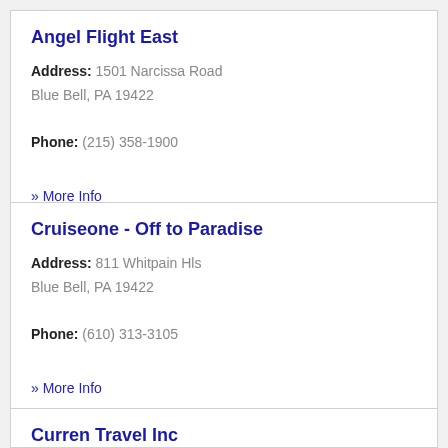Angel Flight East
Address: 1501 Narcissa Road
Blue Bell, PA 19422
Phone: (215) 358-1900
» More Info
Cruiseone - Off to Paradise
Address: 811 Whitpain Hls
Blue Bell, PA 19422
Phone: (610) 313-3105
» More Info
Curren Travel Inc